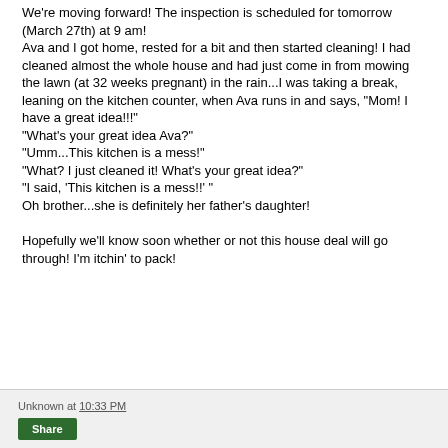We're moving forward! The inspection is scheduled for tomorrow (March 27th) at 9 am! Ava and I got home, rested for a bit and then started cleaning! I had cleaned almost the whole house and had just come in from mowing the lawn (at 32 weeks pregnant) in the rain...I was taking a break, leaning on the kitchen counter, when Ava runs in and says, "Mom! I have a great idea!!!" "What's your great idea Ava?" "Umm...This kitchen is a mess!" "What? I just cleaned it! What's your great idea?" "I said, 'This kitchen is a mess!!' " Oh brother...she is definitely her father's daughter!

Hopefully we'll know soon whether or not this house deal will go through! I'm itchin' to pack!
Unknown at 10:33 PM